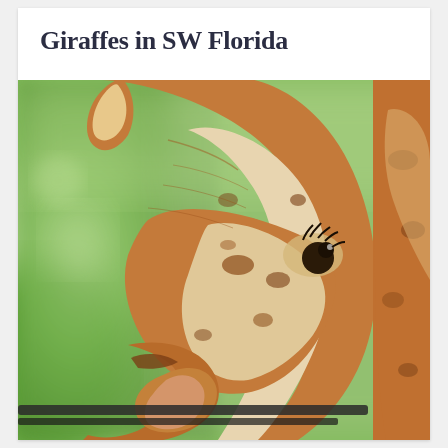Giraffes in SW Florida
[Figure (photo): Close-up photograph of a giraffe's head bending down, showing its brown and white spotted pattern, long eyelashes, dark eye, and tongue/mouth area near a fence railing. A second giraffe is partially visible on the right. Green blurred foliage is visible in the background.]